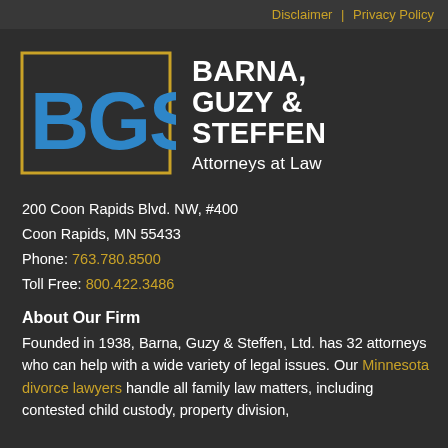Disclaimer | Privacy Policy
[Figure (logo): BGS logo — large blue letters 'BGS' inside a gold rectangular border outline]
BARNA, GUZY & STEFFEN Attorneys at Law
200 Coon Rapids Blvd. NW, #400
Coon Rapids, MN 55433
Phone: 763.780.8500
Toll Free: 800.422.3486
About Our Firm
Founded in 1938, Barna, Guzy & Steffen, Ltd. has 32 attorneys who can help with a wide variety of legal issues. Our Minnesota divorce lawyers handle all family law matters, including contested child custody, property division,